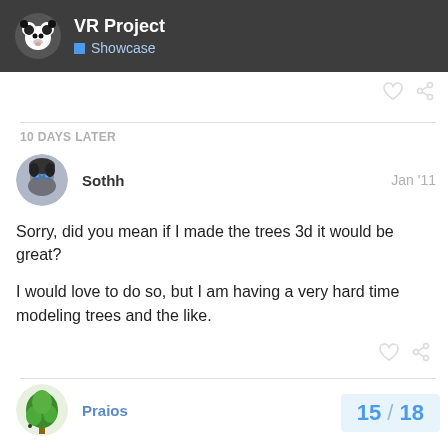VR Project — Showcase
10 DAYS LATER
Sothh  Jan '11
Sorry, did you mean if I made the trees 3d it would be great?
I would love to do so, but I am having a very hard time modeling trees and the like.
Praios  Jan '11
Although its far from perfect and what
15 / 18